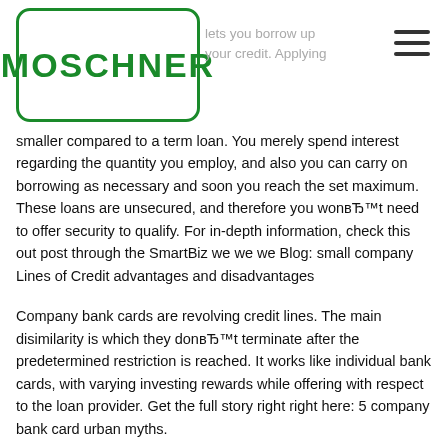MOSCHNER
smaller compared to a term loan. You merely spend interest regarding the quantity you employ, and also you can carry on borrowing as necessary and soon you reach the set maximum. These loans are unsecured, and therefore you wonвЂ™t need to offer security to qualify. For in-depth information, check this out post through the SmartBiz we we we Blog: small company Lines of Credit advantages and disadvantages
Company bank cards are revolving credit lines. The main disimilarity is which they donвЂ™t terminate after the predetermined restriction is reached. It works like individual bank cards, with varying investing rewards while offering with respect to the loan provider. Get the full story right right here: 5 company bank card urban myths.